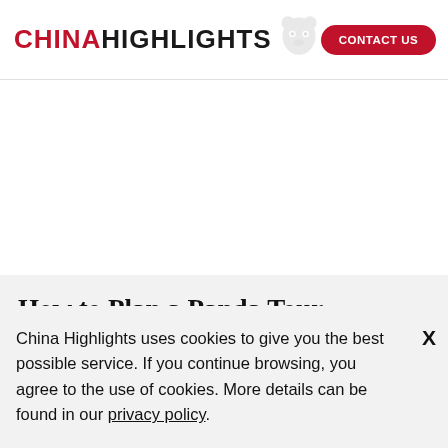CHINAHIGHLIGHTS — CONTACT US
How to Plan a Panda Tour
China Highlights uses cookies to give you the best possible service. If you continue browsing, you agree to the use of cookies. More details can be found in our privacy policy.